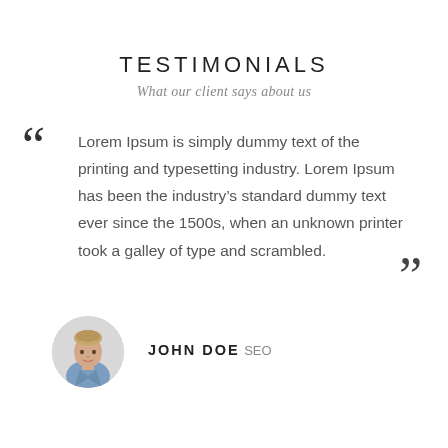TESTIMONIALS
What our client says about us
Lorem Ipsum is simply dummy text of the printing and typesetting industry. Lorem Ipsum has been the industry's standard dummy text ever since the 1500s, when an unknown printer took a galley of type and scrambled.
[Figure (photo): Circular avatar photo of a young man in a blue shirt]
JOHN DOE
SEO